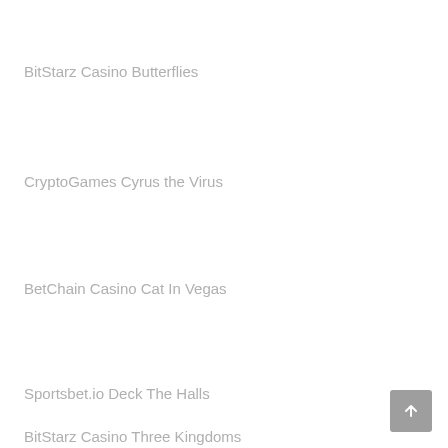BitStarz Casino Butterflies
CryptoGames Cyrus the Virus
BetChain Casino Cat In Vegas
Sportsbet.io Deck The Halls
BitStarz Casino Three Kingdoms